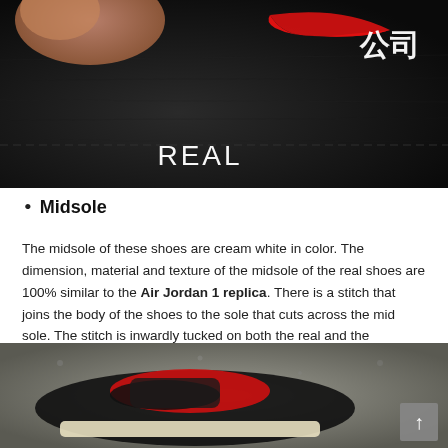[Figure (photo): Close-up photo of a black Nike Air Jordan 1 shoe with red swoosh logo. White text 'REAL' overlaid on center, Chinese characters '公司' overlaid on upper right.]
Midsole
The midsole of these shoes are cream white in color. The dimension, material and texture of the midsole of the real shoes are 100% similar to the Air Jordan 1 replica. There is a stitch that joins the body of the shoes to the sole that cuts across the mid sole. The stitch is inwardly tucked on both the real and the replicated pair. The stitches are also consistent and even all through the shoes.
[Figure (photo): Photo of a black, red, and cream Air Jordan 1 sneaker lying on a grey surface, viewed from above/side angle. A grey scroll-to-top button with an upward arrow is visible in the bottom right corner.]